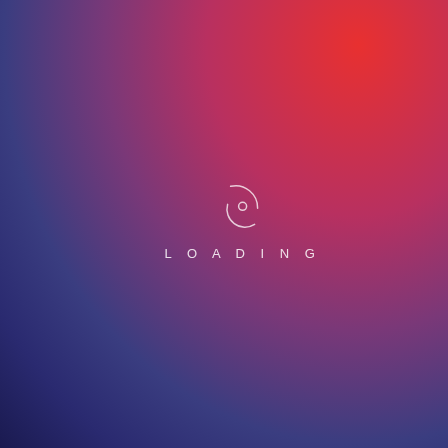[Figure (illustration): Loading screen with a purple-to-red gradient background, a circular spinner icon in white outline, and the word LOADING in white spaced capital letters centered slightly above middle of the page.]